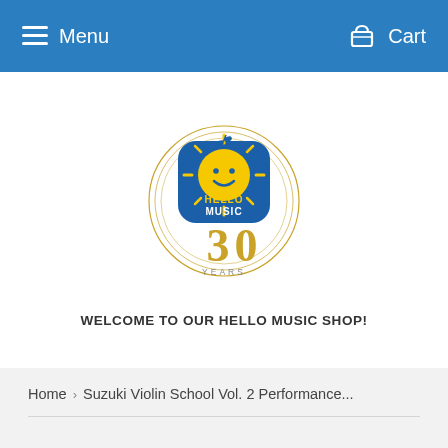Menu   Cart
[Figure (logo): Hello Music 30 Years logo — circular gold ring design with a blue badge showing a yellow smiley sun face and the text HELLO MUSIC in blue, with 30 in large gold numbers below and YEARS in small text]
WELCOME TO OUR HELLO MUSIC SHOP!
Home  >  Suzuki Violin School Vol. 2 Performance...